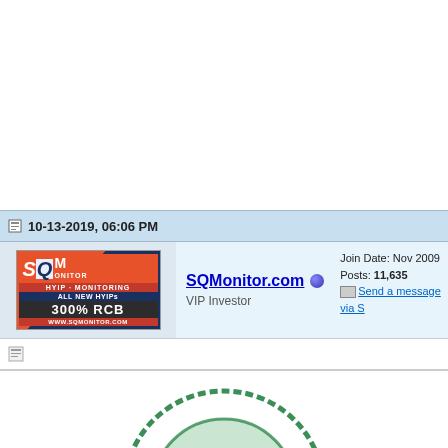10-13-2019, 06:06 PM
[Figure (logo): SQMonitor.com HYIP monitoring logo with orange and dark blue colors, 300% RCB text]
SQMonitor.com
VIP Investor
Join Date: Nov 2009
Posts: 11,635
Send a message via S...
[Figure (illustration): Green rubber stamp showing PAYMENT RECEIVED text with circular border design]